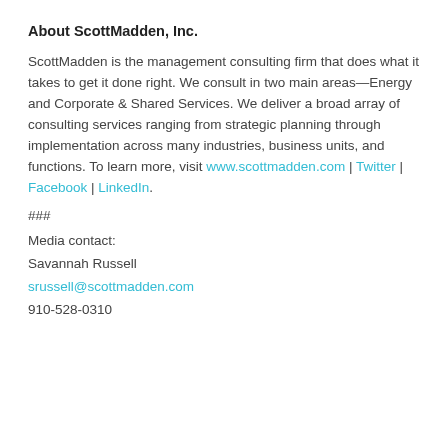About ScottMadden, Inc.
ScottMadden is the management consulting firm that does what it takes to get it done right. We consult in two main areas—Energy and Corporate & Shared Services. We deliver a broad array of consulting services ranging from strategic planning through implementation across many industries, business units, and functions. To learn more, visit www.scottmadden.com | Twitter | Facebook | LinkedIn.
###
Media contact:
Savannah Russell
srussell@scottmadden.com
910-528-0310